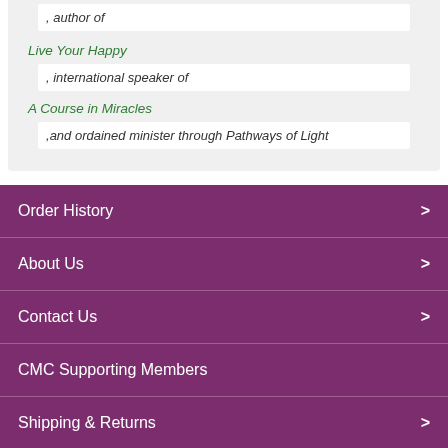, author of
Live Your Happy
, international speaker of
A Course in Miracles
,and ordained minister through Pathways of Light
Order History
About Us
Contact Us
CMC Supporting Members
Shipping & Returns
Privacy Policy